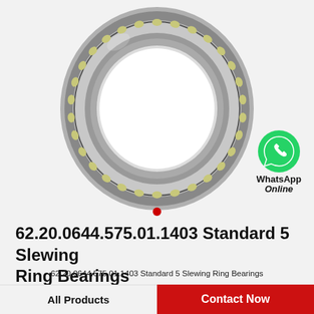[Figure (photo): A slewing ring bearing (thin section ball bearing ring) photographed at an angle, showing steel races with yellowish-green ball retainers/cages visible around the circumference. The bearing is large and annular in shape.]
62.20.0644.575.01.1403 Standard 5 Slewing Ring Bearings
62.20.0644.575.01.1403 Standard 5 Slewing Ring Bearings
All Products
Contact Now